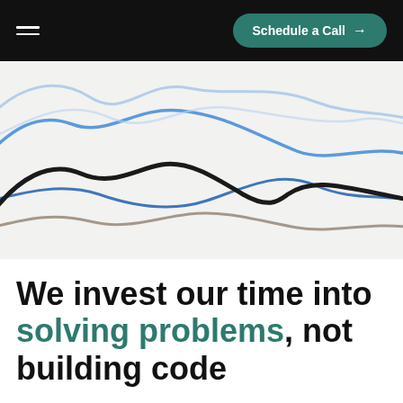Schedule a Call →
[Figure (continuous-plot): Multi-line continuous wave chart with four overlapping lines in blue (light), blue (dark/medium), black, and gray/brown colors showing undulating wave patterns across the background of the page. No axis labels or data points readable.]
We invest our time into solving problems, not building code